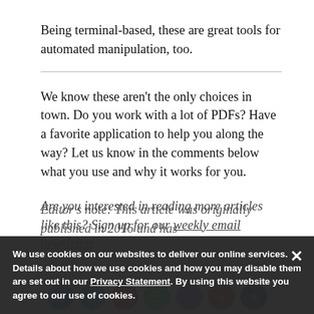Being terminal-based, these are great tools for automated manipulation, too.
We know these aren't the only choices in town. Do you work with a lot of PDFs? Have a favorite application to help you along the way? Let us know in the comments below what you use and why it works for you.
Are you interested in reading more articles like this? Sign up for our weekly email newsletter.
Editor's note: This article was originally published in 2016 and has...
We use cookies on our websites to deliver our online services. Details about how we use cookies and how you may disable them are set out in our Privacy Statement. By using this website you agree to our use of cookies.